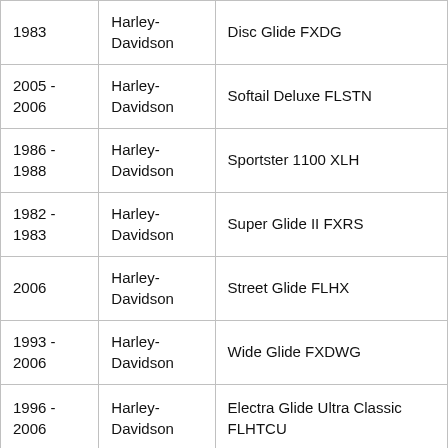| 1983 | Harley-Davidson | Disc Glide FXDG |
| 2005 -
2006 | Harley-Davidson | Softail Deluxe FLSTN |
| 1986 -
1988 | Harley-Davidson | Sportster 1100 XLH |
| 1982 -
1983 | Harley-Davidson | Super Glide II FXRS |
| 2006 | Harley-Davidson | Street Glide FLHX |
| 1993 -
2006 | Harley-Davidson | Wide Glide FXDWG |
| 1996 -
2006 | Harley-Davidson | Electra Glide Ultra Classic FLHTCU |